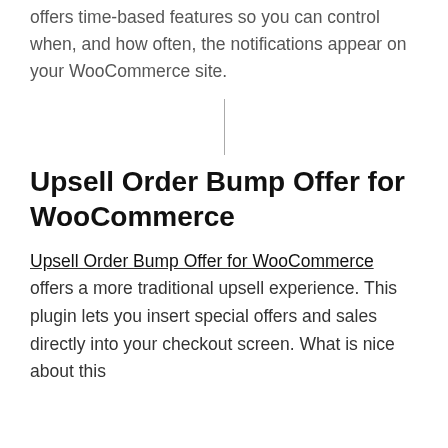use in the paid version. The paid upgrade also offers time-based features so you can control when, and how often, the notifications appear on your WooCommerce site.
[Figure (other): A thin vertical divider line centered on the page]
Upsell Order Bump Offer for WooCommerce
Upsell Order Bump Offer for WooCommerce offers a more traditional upsell experience. This plugin lets you insert special offers and sales directly into your checkout screen. What is nice about this